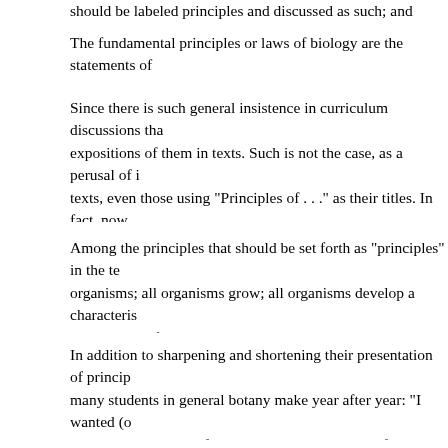should be labeled principles and discussed as such; and second; th
The fundamental principles or laws of biology are the statements of general statements about the behavior of energy and matter. A colle
Since there is such general insistence in curriculum discussions tha expositions of them in texts. Such is not the case, as a perusal of i texts, even those using "Principles of . . ." as their titles. In fact, now way new terms are set out in many texts to make them inescapable. In a once much-discussed Harvard Report there is not even an exa Biological Science."
Among the principles that should be set forth as "principles" in the te organisms; all organisms grow; all organisms develop a characteris potentialities from their progenitors and transmit certain potentialities hereditary potentialities; all organisms are sensitive to changes in th
In addition to sharpening and shortening their presentation of princip many students in general botany make year after year: "I wanted (o articles in this issue of the P. S. B. present points of view relative to be.
In the future let us have texts that include both principles (a presenta books students will keep and use throughout their lives. Isn't this a w book shelf rarely achieve much influence in anyone's life.